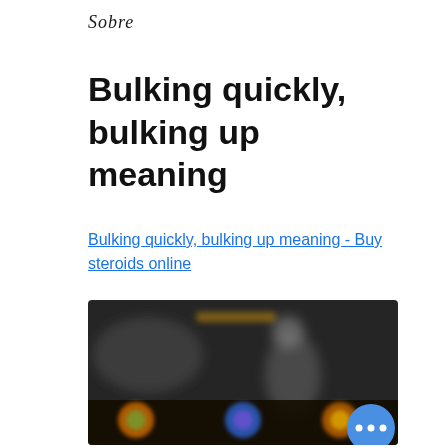Sobre
Bulking quickly, bulking up meaning
Bulking quickly, bulking up meaning - Buy steroids online
[Figure (photo): Blurred dark image showing a figure and colorful circular icons at the bottom with a blue more-options button]